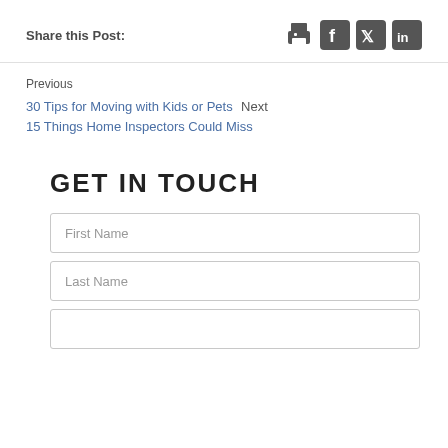Share this Post:
Previous
30 Tips for Moving with Kids or Pets  Next
15 Things Home Inspectors Could Miss
GET IN TOUCH
First Name
Last Name